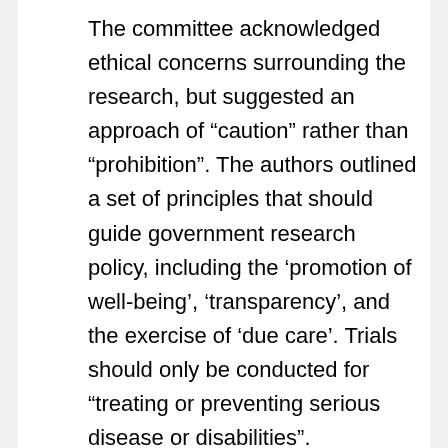The committee acknowledged ethical concerns surrounding the research, but suggested an approach of “caution” rather than “prohibition”. The authors outlined a set of principles that should guide government research policy, including the ‘promotion of well-being’, ‘transparency’, and the exercise of ‘due care’. Trials should only be conducted for “treating or preventing serious disease or disabilities”.
Experts were divided over the report.
Eric Lander of the Broad Institute